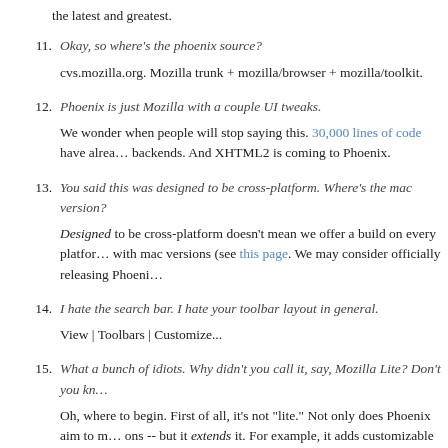the latest and greatest.
11. Okay, so where's the phoenix source?

cvs.mozilla.org. Mozilla trunk + mozilla/browser + mozilla/toolkit.
12. Phoenix is just Mozilla with a couple UI tweaks.

We wonder when people will stop saying this. 30,000 lines of code have already been written for new backends. And XHTML2 is coming to Phoenix.
13. You said this was designed to be cross-platform. Where's the mac version?

Designed to be cross-platform doesn't mean we offer a build on every platform. There are community builds with mac versions (see this page. We may consider officially releasing Phoeni…
14. I hate the search bar. I hate your toolbar layout in general.

View | Toolbars | Customize...
15. What a bunch of idiots. Why didn't you call it, say, Mozilla Lite? Don't you kn…

Oh, where to begin. First of all, it's not "lite." Not only does Phoenix aim to m… ons -- but it extends it. For example, it adds customizable toolbars and quickse… downloads sidebar pane.

Second, it's not Mozilla. It's backed by mozilla.org, sure, but with each mile…